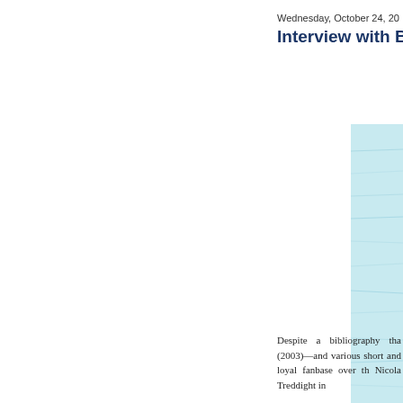Wednesday, October 24, 20
Interview with B
[Figure (photo): Photo of a person against a light blue water background, partially cropped on the right side of the page. The lower portion shows a figure in dark blue clothing.]
(Photo
Despite a bibliography tha (2003)—and various short and loyal fanbase over th Nicola Treddight in